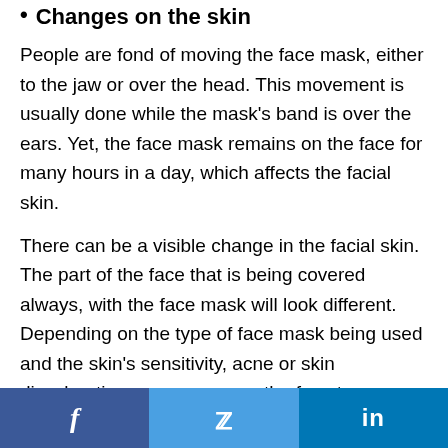Changes on the skin
People are fond of moving the face mask, either to the jaw or over the head. This movement is usually done while the mask's band is over the ears. Yet, the face mask remains on the face for many hours in a day, which affects the facial skin.
There can be a visible change in the facial skin. The part of the face that is being covered always, with the face mask will look different. Depending on the type of face mask being used and the skin's sensitivity, acne or skin discoloration may appear on the face too.
f   🐦   in